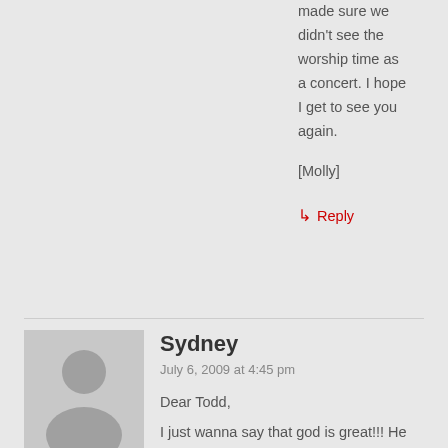made sure we didn't see the worship time as a concert. I hope I get to see you again.
[Molly]
↳ Reply
Sydney
July 6, 2009 at 4:45 pm
[Figure (illustration): Default user avatar placeholder showing a silhouette of a person on a grey background]
Dear Todd,
I just wanna say that god is great!!! He has moved in my life this week soooo much. Camp was amazing. I was definatly moved this week. Yesterday we had our slideshow at church and we had seven people come to camp every one said worship was the best part. Please pray for me I am going through alot right now. THANK YOU soooooooo